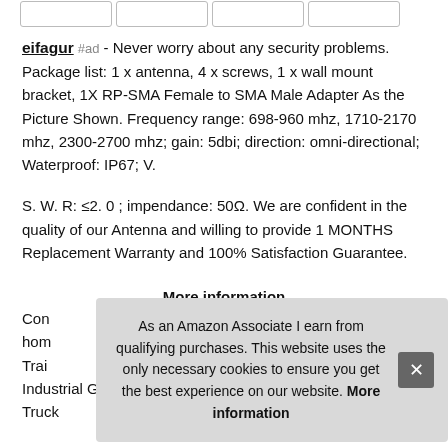[Figure (other): Row of thumbnail image boxes at top of page]
eifagur #ad - Never worry about any security problems. Package list: 1 x antenna, 4 x screws, 1 x wall mount bracket, 1X RP-SMA Female to SMA Male Adapter As the Picture Shown. Frequency range: 698-960 mhz, 1710-2170 mhz, 2300-2700 mhz; gain: 5dbi; direction: omni-directional; Waterproof: IP67; V.
S. W. R: ≤2. 0 ; impendance: 50Ω. We are confident in the quality of our Antenna and willing to provide 1 MONTHS Replacement Warranty and 100% Satisfaction Guarantee.
More information
Con... hom... Trai... Industrial Gateway Router Modem Terminal; Vehicle Car Truck
As an Amazon Associate I earn from qualifying purchases. This website uses the only necessary cookies to ensure you get the best experience on our website. More information